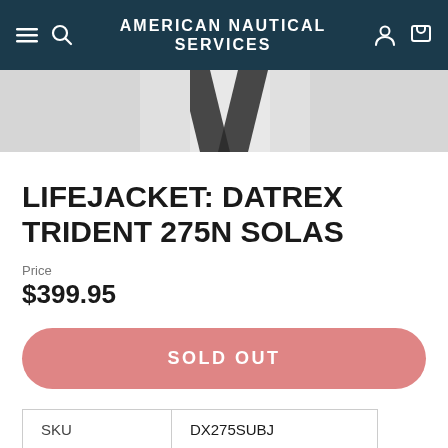AMERICAN NAUTICAL SERVICES
[Figure (photo): Partial product image showing a white lifejacket with black straps on a light gray background]
LIFEJACKET: DATREX TRIDENT 275N SOLAS
Price
$399.95
SOLD OUT
| SKU | DX275SUBJ |
|  |  |